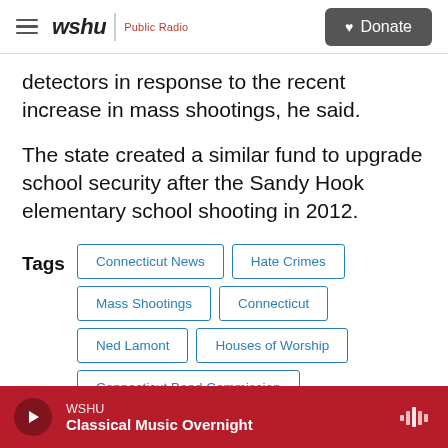wshu | Public Radio  [Donate button]
detectors in response to the recent increase in mass shootings, he said.
The state created a similar fund to upgrade school security after the Sandy Hook elementary school shooting in 2012.
Tags: Connecticut News | Hate Crimes | Mass Shootings | Connecticut | Ned Lamont | Houses of Worship | Connecticut Bond Commission
WSHU
Classical Music Overnight